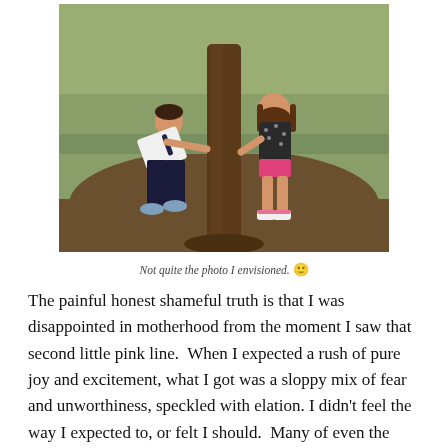[Figure (photo): Two children playing around a tree outdoors. A boy in white shirt and dark pants leans forward on the left, and a girl in a dark patterned dress and pink shorts stands by the tree on the right. Green grass and mulch ground visible.]
Not quite the photo I envisioned. 🙂
The painful honest shameful truth is that I was disappointed in motherhood from the moment I saw that second little pink line.  When I expected a rush of pure joy and excitement, what I got was a sloppy mix of fear and unworthiness, speckled with elation. I didn't feel the way I expected to, or felt I should.  Many of even the sweetest